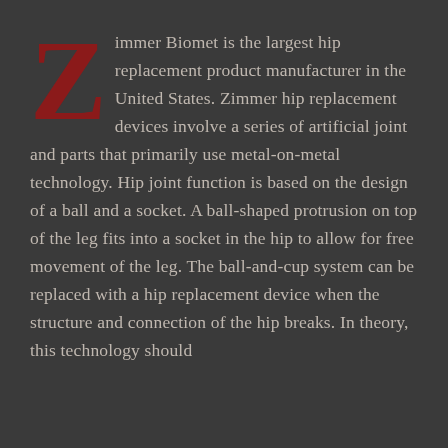Zimmer Biomet is the largest hip replacement product manufacturer in the United States. Zimmer hip replacement devices involve a series of artificial joint and parts that primarily use metal-on-metal technology. Hip joint function is based on the design of a ball and a socket. A ball-shaped protrusion on top of the leg fits into a socket in the hip to allow for free movement of the leg. The ball-and-cup system can be replaced with a hip replacement device when the structure and connection of the hip breaks. In theory, this technology should...